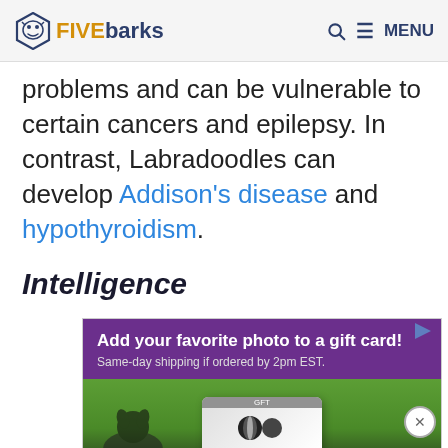FIVEbarks — Q MENU
problems and can be vulnerable to certain cancers and epilepsy. In contrast, Labradoodles can develop Addison's disease and hypothyroidism.
Intelligence
[Figure (advertisement): Ad banner: 'Add your favorite photo to a gift card! Same-day shipping if ordered by 2pm EST.' Purple header with photo of a dog and a gift card below.]